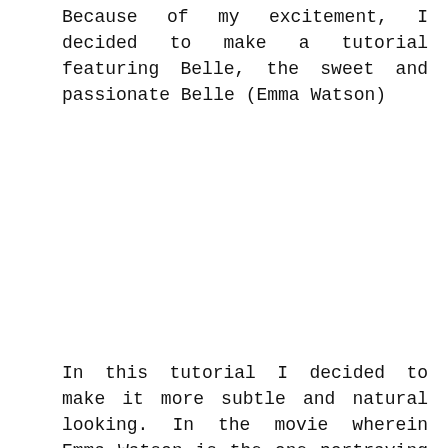Because of my excitement, I decided to make a tutorial featuring Belle, the sweet and passionate Belle (Emma Watson)
[Figure (photo): Photo of Belle (Emma Watson) — image area appears blank/white in the provided scan]
In this tutorial I decided to make it more subtle and natural looking. In the movie wherein Emma Watson is the one portraying Belle, she's having that natural beauty no extra coverage makeup done, just simply her own radiance and beauty showing. So it's my